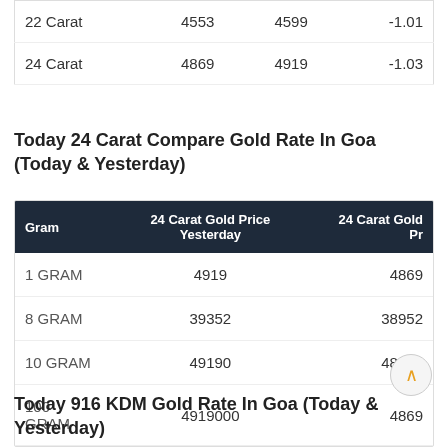|  |  |  |  |
| --- | --- | --- | --- |
| 22 Carat | 4553 | 4599 | -1.01 |
| 24 Carat | 4869 | 4919 | -1.03 |
Today 24 Carat Compare Gold Rate In Goa (Today & Yesterday)
| Gram | 24 Carat Gold Price Yesterday | 24 Carat Gold Pr |
| --- | --- | --- |
| 1 GRAM | 4919 | 4869 |
| 8 GRAM | 39352 | 38952 |
| 10 GRAM | 49190 | 48690 |
| 100 GRAM | 4919000 | 4869... |
Today 916 KDM Gold Rate In Goa (Today & Yesterday)